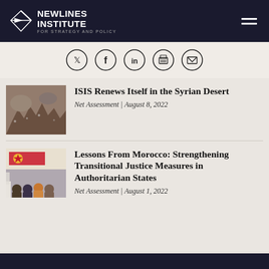NEWLINES INSTITUTE FOR STRATEGY AND POLICY
[Figure (infographic): Social sharing icons: Twitter, Facebook, LinkedIn, Print, Email]
[Figure (photo): Aerial photo of destroyed buildings in Syrian desert]
ISIS Renews Itself in the Syrian Desert
Net Assessment | August 8, 2022
[Figure (photo): Photo of people sitting in a room with a banner, Morocco transitional justice event]
Lessons From Morocco: Strengthening Transitional Justice Measures in Authoritarian States
Net Assessment | August 1, 2022